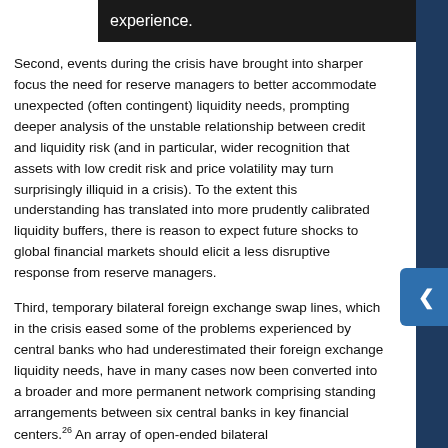experience.
Second, events during the crisis have brought into sharper focus the need for reserve managers to better accommodate unexpected (often contingent) liquidity needs, prompting deeper analysis of the unstable relationship between credit and liquidity risk (and in particular, wider recognition that assets with low credit risk and price volatility may turn surprisingly illiquid in a crisis). To the extent this understanding has translated into more prudently calibrated liquidity buffers, there is reason to expect future shocks to global financial markets should elicit a less disruptive response from reserve managers.
Third, temporary bilateral foreign exchange swap lines, which in the crisis eased some of the problems experienced by central banks who had underestimated their foreign exchange liquidity needs, have in many cases now been converted into a broader and more permanent network comprising standing arrangements between six central banks in key financial centers.26 An array of open-ended bilateral